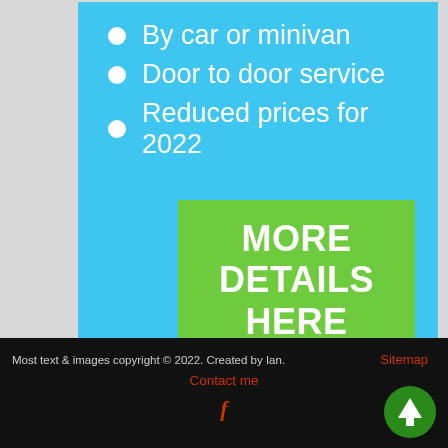By car or minivan
Door to door service
Reduced prices for 2022
[Figure (other): Green button with text MORE DETAILS HERE]
Most text & images copyright © 2022. Created by Ian.   Sitemap   Contact me   f